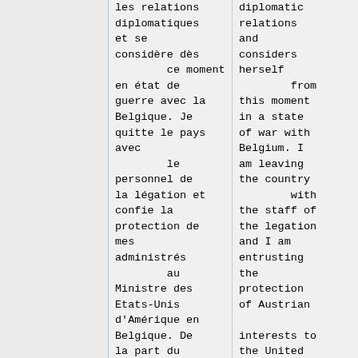les relations diplomatiques et se considère dès
        ce moment en état de guerre avec la Belgique. Je quitte le pays avec
        le personnel de la légation et confie la protection de mes administrés
        au Ministre des Etats-Unis d'Amérique en Belgique. De la part du

Gouvernement
diplomatic relations and considers herself
        from this moment in a state of war with Belgium. I am leaving the country
        with the staff of the legation and I am entrusting the protection of Austrian

interests to the United States Minister in